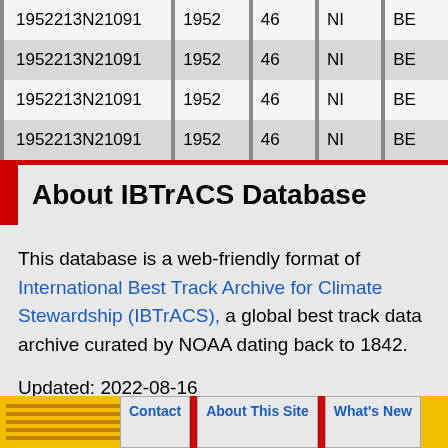| ID | Year | Col3 | Col4 | Col5 |
| --- | --- | --- | --- | --- |
| 1952213N21091 | 1952 | 46 | NI | BE |
| 1952213N21091 | 1952 | 46 | NI | BE |
| 1952213N21091 | 1952 | 46 | NI | BE |
| 1952213N21091 | 1952 | 46 | NI | BE |
About IBTrACS Database
This database is a web-friendly format of International Best Track Archive for Climate Stewardship (IBTrACS), a global best track data archive curated by NOAA dating back to 1842.
Updated: 2022-08-16
Contact | About This Site | What's New